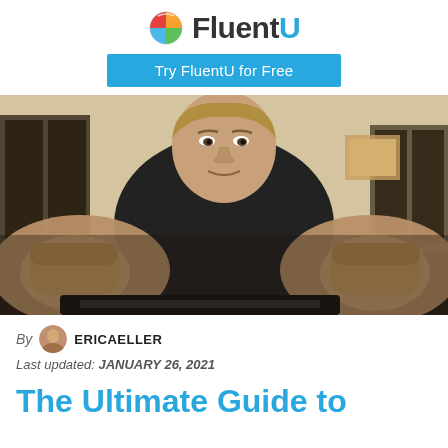FluentU — Try FluentU for Free
[Figure (photo): A man in a black shirt pointing both fists toward the camera in an indoor setting, blurred foreground hands prominent.]
By ERICAELLER
Last updated: JANUARY 26, 2021
The Ultimate Guide to